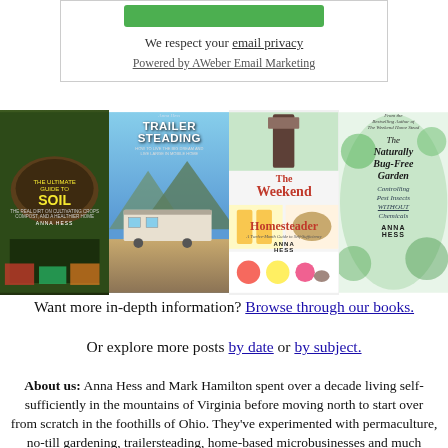We respect your email privacy
Powered by AWeber Email Marketing
[Figure (photo): Four book covers by Anna Hess: The Ultimate Guide to Soil, Trailersteading, The Weekend Homesteader, The Naturally Bug-Free Garden]
Want more in-depth information? Browse through our books.
Or explore more posts by date or by subject.
About us: Anna Hess and Mark Hamilton spent over a decade living self-sufficiently in the mountains of Virginia before moving north to start over from scratch in the foothills of Ohio. They've experimented with permaculture, no-till gardening, trailersteading, home-based microbusinesses and much more, writing about their adventures in both blogs and books.